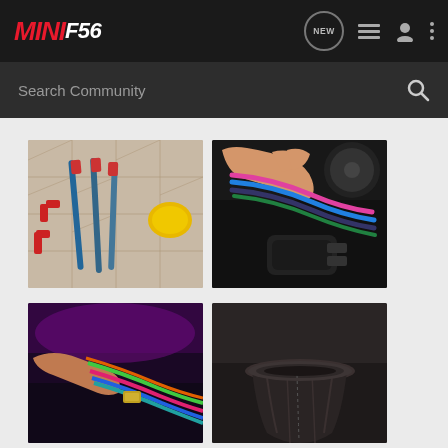MINIF56 - Search Community
[Figure (photo): Four photos in a 2x2 grid showing automotive wiring work: top-left shows wire removal tools (pry tools) laid on tile ground with a yellow object; top-right shows a hand holding colored wires (pink, blue, dark) near a car interior connector/switch panel; bottom-left shows a hand working with multicolored wires near a car interior with purple ambient lighting; bottom-right shows a gear shift boot/gaiter in a dark car interior center console.]